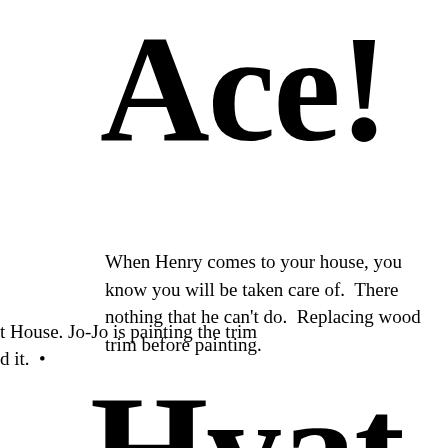Ace!
When Henry comes to your house, you know you will be taken care of.  There nothing that he can't do.  Replacing wood trim before painting.
t House. Jo-Jo is painting the trim
d it.  •
Hyat